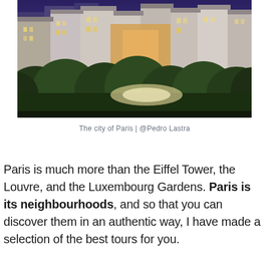[Figure (photo): Aerial twilight view of Paris city rooftops and buildings with illuminated facades, trees in foreground, taken at dusk.]
The city of Paris | @Pedro Lastra
Paris is much more than the Eiffel Tower, the Louvre, and the Luxembourg Gardens. Paris is its neighbourhoods, and so that you can discover them in an authentic way, I have made a selection of the best tours for you.